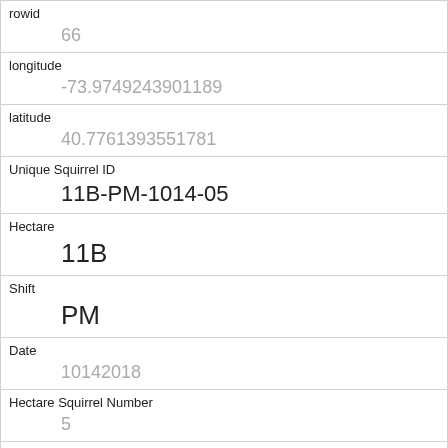| rowid | 66 |
| longitude | -73.9749243901189 |
| latitude | 40.7761393551781 |
| Unique Squirrel ID | 11B-PM-1014-05 |
| Hectare | 11B |
| Shift | PM |
| Date | 10142018 |
| Hectare Squirrel Number | 5 |
| Age | Adult |
| Primary Fur Color | Gray |